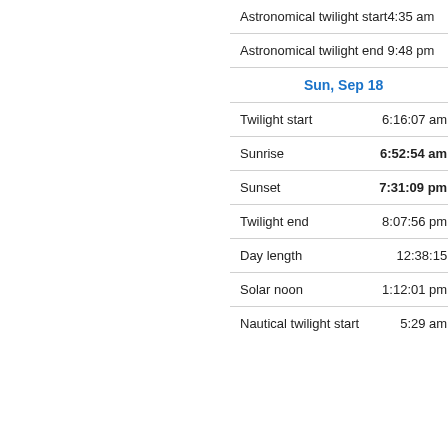| Label | Value |
| --- | --- |
| Astronomical twilight start | 4:35 am |
| Astronomical twilight end | 9:48 pm |
| Sun, Sep 18 |  |
| Twilight start | 6:16:07 am |
| Sunrise | 6:52:54 am |
| Sunset | 7:31:09 pm |
| Twilight end | 8:07:56 pm |
| Day length | 12:38:15 |
| Solar noon | 1:12:01 pm |
| Nautical twilight start | 5:29 am |